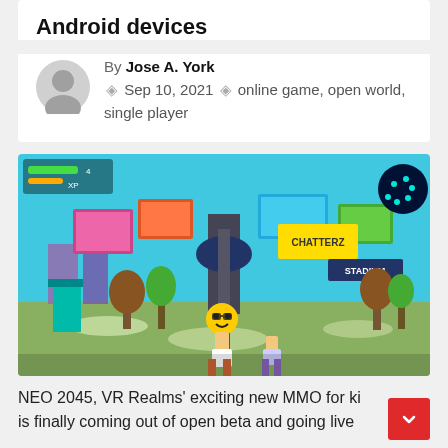Android devices
By Jose A. York
◈ Sep 10, 2021 ◈ online game, open world, single player
[Figure (screenshot): Screenshot of NEO 2045 MMO game showing a colorful open world area with cartoon characters, billboards, trees, and a stadium in the background.]
NEO 2045, VR Realms' exciting new MMO for kids is finally coming out of open beta and going live